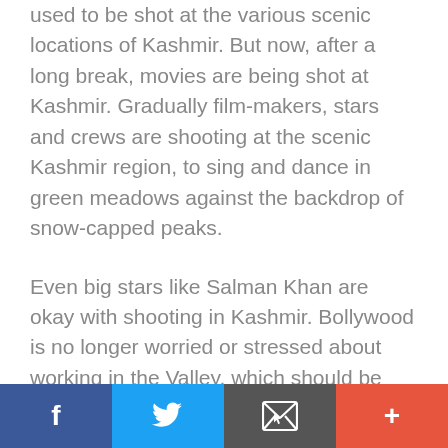used to be shot at the various scenic locations of Kashmir. But now, after a long break, movies are being shot at Kashmir. Gradually film-makers, stars and crews are shooting at the scenic Kashmir region, to sing and dance in green meadows against the backdrop of snow-capped peaks.
Even big stars like Salman Khan are okay with shooting in Kashmir. Bollywood is no longer worried or stressed about working in the Valley, which should be great news for the people of Kashmir.
“Pahalgam was famous even before Betaab (Sunny Deol’s debut movie) was shot there but
[Figure (other): Social media share bar with four buttons: Facebook (blue), Twitter (light blue), Email/envelope (dark grey), and More/plus (orange-red)]